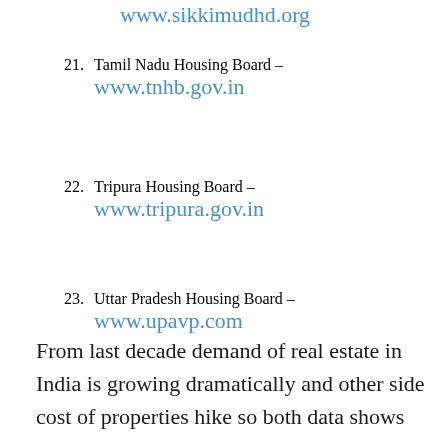www.sikkimudhd.org
21. Tamil Nadu Housing Board – www.tnhb.gov.in
22. Tripura Housing Board – www.tripura.gov.in
23. Uttar Pradesh Housing Board – www.upavp.com
From last decade demand of real estate in India is growing dramatically and other side cost of properties hike so both data shows